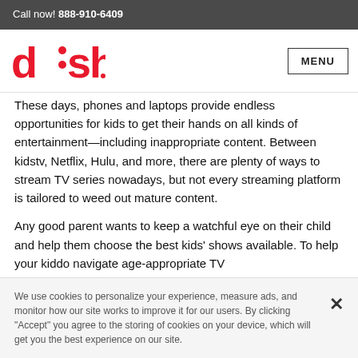Call now! 888-910-6409
[Figure (logo): DISH Network logo in red]
These days, phones and laptops provide endless opportunities for kids to get their hands on all kinds of entertainment—including inappropriate content. Between kidstv, Netflix, Hulu, and more, there are plenty of ways to stream TV series nowadays, but not every streaming platform is tailored to weed out mature content.
Any good parent wants to keep a watchful eye on their child and help them choose the best kids' shows available. To help your kiddo navigate age-appropriate TV
We use cookies to personalize your experience, measure ads, and monitor how our site works to improve it for our users. By clicking "Accept" you agree to the storing of cookies on your device, which will get you the best experience on our site.